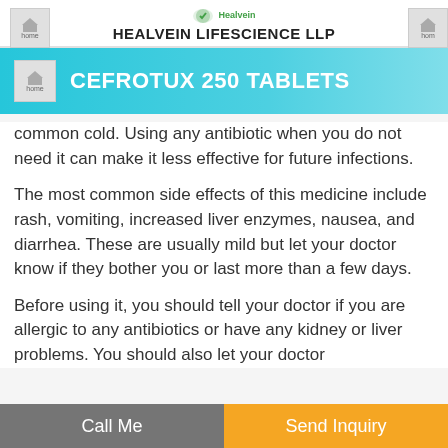HEALVEIN LIFESCIENCE LLP
CEFROTUX 250 TABLETS
common cold. Using any antibiotic when you do not need it can make it less effective for future infections.
The most common side effects of this medicine include rash, vomiting, increased liver enzymes, nausea, and diarrhea. These are usually mild but let your doctor know if they bother you or last more than a few days.
Before using it, you should tell your doctor if you are allergic to any antibiotics or have any kidney or liver problems. You should also let your doctor
Call Me   Send Inquiry